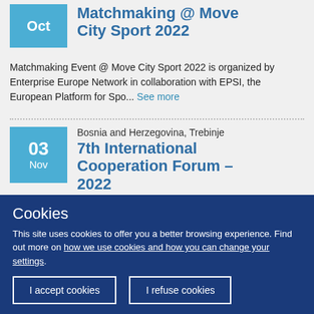Matchmaking @ Move City Sport 2022
Matchmaking Event @ Move City Sport 2022 is organized by Enterprise Europe Network in collaboration with EPSI, the European Platform for Spo... See more
Bosnia and Herzegovina, Trebinje
7th International Cooperation Forum – 2022
Cookies
This site uses cookies to offer you a better browsing experience. Find out more on how we use cookies and how you can change your settings.
I accept cookies
I refuse cookies